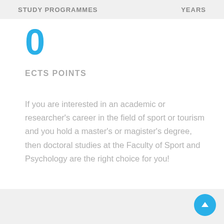STUDY PROGRAMMES   YEARS
0
ECTS POINTS
If you are interested in an academic or researcher's career in the field of sport or tourism and you hold a master's or magister's degree, then doctoral studies at the Faculty of Sport and Psychology are the right choice for you!
SEE MORE